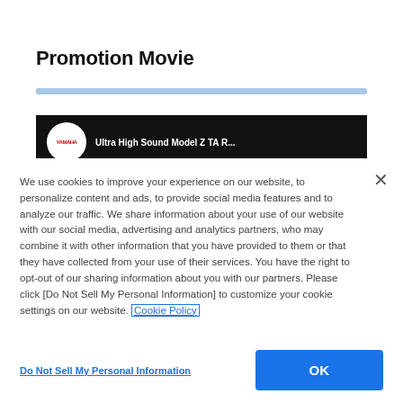Promotion Movie
[Figure (screenshot): Yamaha promotion movie video thumbnail showing black background with Yamaha logo and partial title text]
We use cookies to improve your experience on our website, to personalize content and ads, to provide social media features and to analyze our traffic. We share information about your use of our website with our social media, advertising and analytics partners, who may combine it with other information that you have provided to them or that they have collected from your use of their services. You have the right to opt-out of our sharing information about you with our partners. Please click [Do Not Sell My Personal Information] to customize your cookie settings on our website. Cookie Policy
Do Not Sell My Personal Information
OK